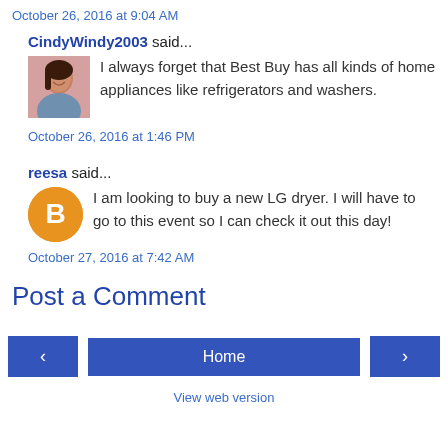October 26, 2016 at 9:04 AM
CindyWindy2003 said...
[Figure (photo): Profile photo of CindyWindy2003, a woman smiling]
I always forget that Best Buy has all kinds of home appliances like refrigerators and washers.
October 26, 2016 at 1:46 PM
reesa said...
[Figure (illustration): Blogger default avatar icon, orange circle with white B letter]
I am looking to buy a new LG dryer. I will have to go to this event so I can check it out this day!
October 27, 2016 at 7:42 AM
Post a Comment
Home
View web version